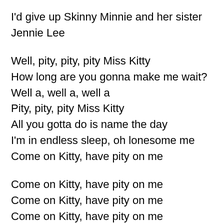I'd give up Skinny Minnie and her sister Jennie Lee
Well, pity, pity, pity Miss Kitty
How long are you gonna make me wait?
Well a, well a, well a
Pity, pity, pity Miss Kitty
All you gotta do is name the day
I'm in endless sleep, oh lonesome me
Come on Kitty, have pity on me
Come on Kitty, have pity on me
Come on Kitty, have pity on me
Come on Kitty, have pity on me